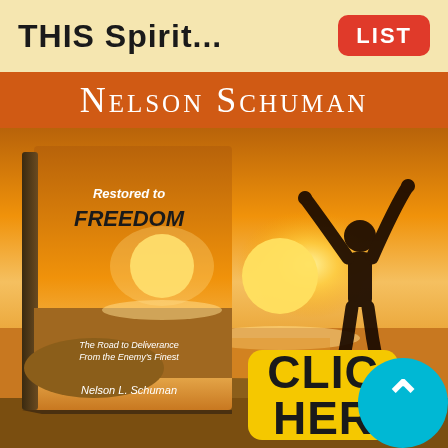THIS Spirit...
LIST
NELSON SCHUMAN
[Figure (illustration): Book cover 'Restored to Freedom - The Road to Deliverance From the Enemy's Finest' by Nelson L. Schuman, with silhouette of person arms raised against sunset background]
CLICK HERE